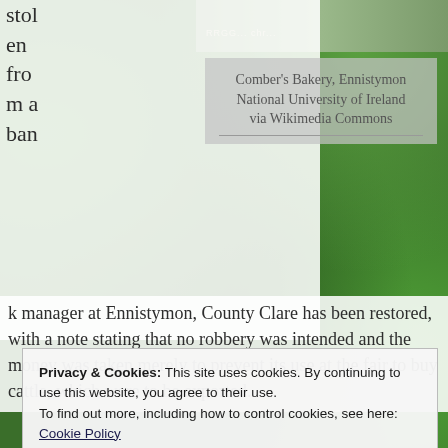[Figure (photo): Partial view of a building exterior (Comber's Bakery, Ennistymon) with green foliage background]
Comber's Bakery, Ennistymon
National University of Ireland
via Wikimedia Commons
stolen from a bank manager at Ennistymon, County Clare has been restored, with a note stating that no robbery was intended and the money was taken merely to prevent its use at the fair to buy cattle, which were to be exported.
Privacy & Cookies: This site uses cookies. By continuing to use this website, you agree to their use.
To find out more, including how to control cookies, see here:
Cookie Policy
Close and accept